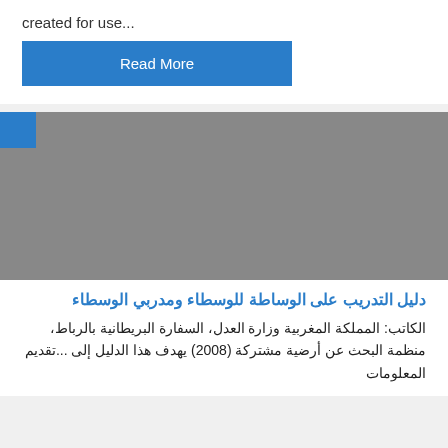created for use...
Read More
[Figure (photo): Gray placeholder image with a blue square in the top-left corner]
دليل التدريب على الوساطة للوسطاء ومدربي الوسطاء
الكاتب: المملكة المغربية وزارة العدل، السفارة البريطانية بالرباط، منظمة البحث عن أرضية مشتركة (2008) يهدف هذا الدليل إلى تقديم المعلومات...